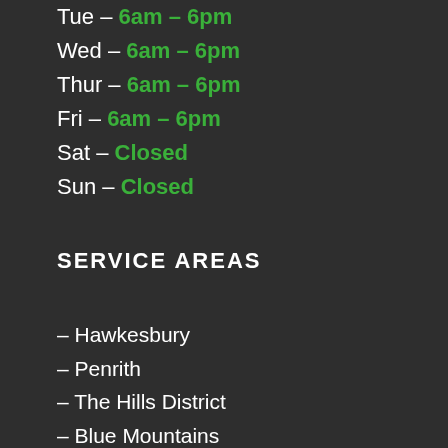Tue – 6am – 6pm
Wed – 6am – 6pm
Thur – 6am – 6pm
Fri – 6am – 6pm
Sat – Closed
Sun – Closed
SERVICE AREAS
– Hawkesbury
– Penrith
– The Hills District
– Blue Mountains